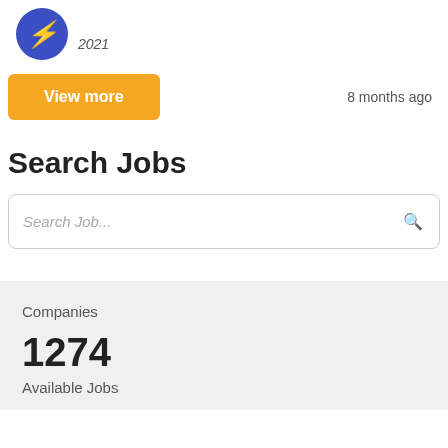[Figure (logo): Blue circle logo with yellow lightning bolt and italic year text '2021']
View more
8 months ago
Search Jobs
Search Job...
Companies
1274
Available Jobs